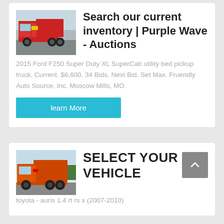[Figure (photo): Red dump truck photo used as thumbnail for auction listing]
Search our current inventory | Purple Wave - Auctions
2015 Ford F250 Super Duty XL SuperCab utility bed pickup truck. Current. $8,600. 34 Bids. Next Bid. Set Max. Fruendly Auto Source, Inc. Moscow Mills, MO.
learn More
[Figure (photo): Orange/red dump truck photo used as thumbnail for vehicle selection section]
SELECT YOUR VEHICLE
toyota - auris 1.4 rt rs x (2007-2010)